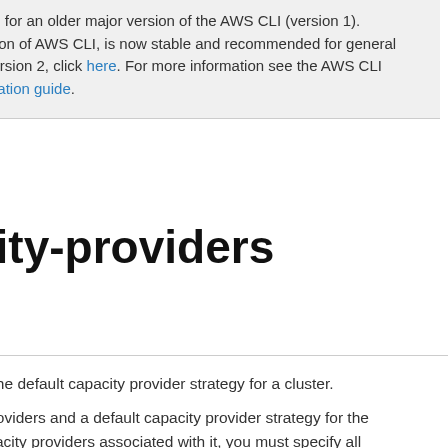on for an older major version of the AWS CLI (version 1). ision of AWS CLI, is now stable and recommended for general version 2, click here. For more information see the AWS CLI gration guide.
city-providers
nd the default capacity provider strategy for a cluster.
y providers and a default capacity provider strategy for the capacity providers associated with it, you must specify all y new ones you want to add. Any existing capacity providers